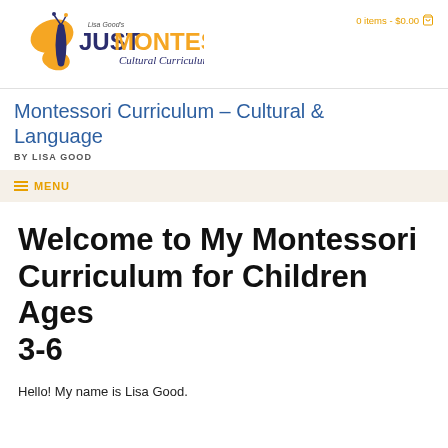[Figure (logo): Just Montessori Cultural Curriculum logo with butterfly and text]
0 items - $0.00
Montessori Curriculum – Cultural & Language
BY LISA GOOD
≡ MENU
Welcome to My Montessori Curriculum for Children Ages 3-6
Hello! My name is Lisa Good.